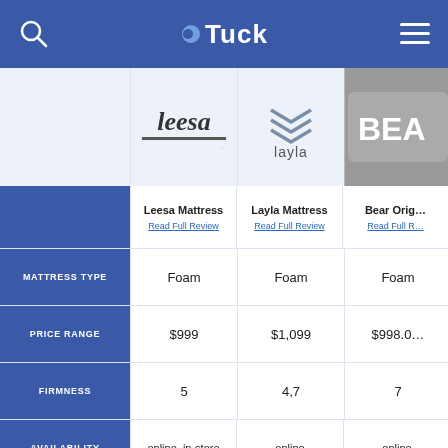Tuck
|  | Leesa Mattress | Layla Mattress | Bear Orig... |
| --- | --- | --- | --- |
| MATTRESS TYPE | Foam | Foam | Foam |
| PRICE RANGE | $999 | $1,099 | $998.0... |
| FIRMNESS | 5 | 4,7 | 7 |
| AVAILABILITY | online, in-store | online | online |
| SLEEP TRIAL | 100 nights | 120 nights | 365 ni... |